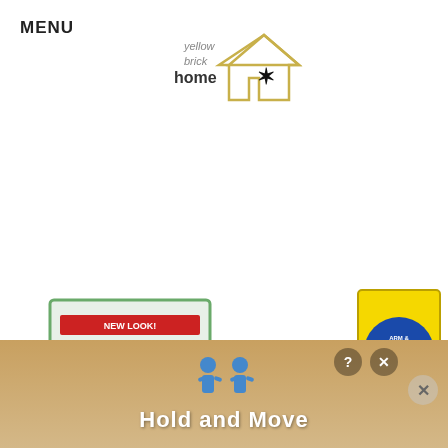MENU
[Figure (logo): Yellow Brick Home logo with house icon and star]
[Figure (photo): Three laundry products: 20 Mule Team Borax (box, labeled 1), Fels-Naptha bar soap (labeled 2), Arm & Hammer Super Washing Soda box (labeled 3)]
I kid you not, this is the most amazing laundry detergent you will ever get
[Figure (infographic): Advertisement banner: two blue figure icons, Hold and Move text, with question mark and X close buttons]